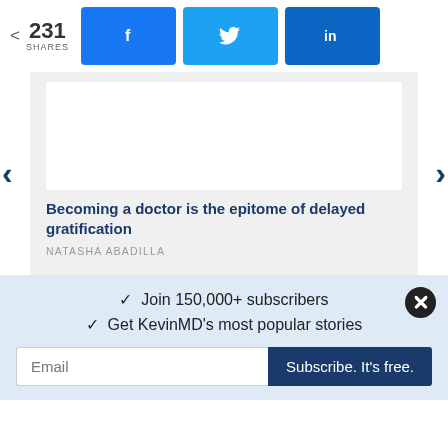231 SHARES | Facebook | Twitter | LinkedIn
[Figure (screenshot): Article card with white image placeholder, blue title 'Becoming a doctor is the epitome of delayed gratification', author NATASHA ABADILLA, with left/right navigation arrows]
Becoming a doctor is the epitome of delayed gratification
NATASHA ABADILLA
✓  Join 150,000+ subscribers
✓  Get KevinMD's most popular stories
Email | Subscribe. It's free.